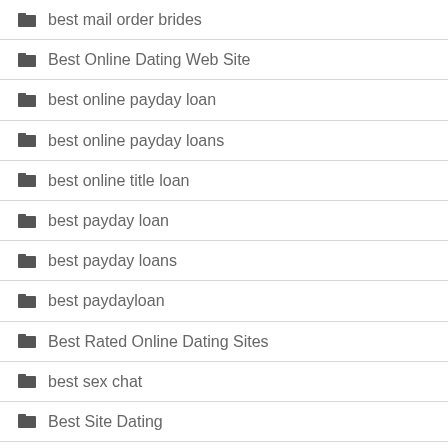best mail order brides
Best Online Dating Web Site
best online payday loan
best online payday loans
best online title loan
best payday loan
best payday loans
best paydayloan
Best Rated Online Dating Sites
best sex chat
Best Site Dating